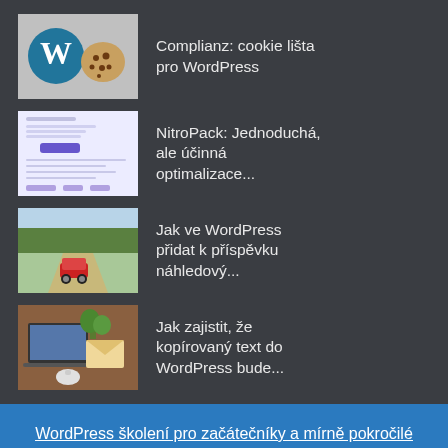Complianz: cookie lišta pro WordPress
NitroPack: Jednoduchá, ale účinná optimalizace...
Jak ve WordPress přidat k příspěvku náhledový...
Jak zajistit, že kopírovaný text do WordPress bude...
WordPress školení pro začátečníky a mírně pokročilé (Praha 6. 10. 2022)